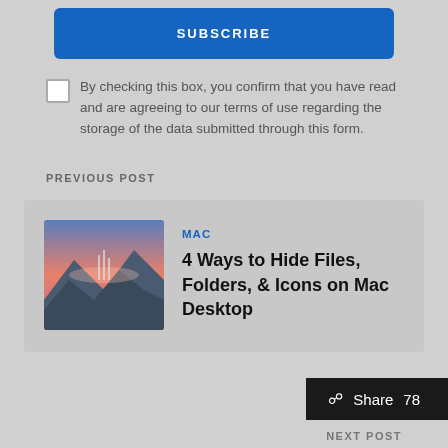SUBSCRIBE
By checking this box, you confirm that you have read and are agreeing to our terms of use regarding the storage of the data submitted through this form.
PREVIOUS POST
[Figure (screenshot): Preview card showing a Mac desktop screenshot thumbnail with mountains and pink sky]
MAC
4 Ways to Hide Files, Folders, & Icons on Mac Desktop
Share 78
NEXT POST